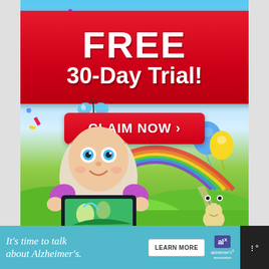[Figure (illustration): Colorful children's app advertisement showing a cartoon egg-character holding a tablet, with a rainbow background, blue and yellow balloons, a butterfly, confetti, and rolling green hills. Features a large red banner at top reading FREE 30-Day Trial! with a CLAIM NOW button.]
FREE
30-Day Trial!
CLAIM NOW ›
It's time to talk about Alzheimer's.
LEARN MORE